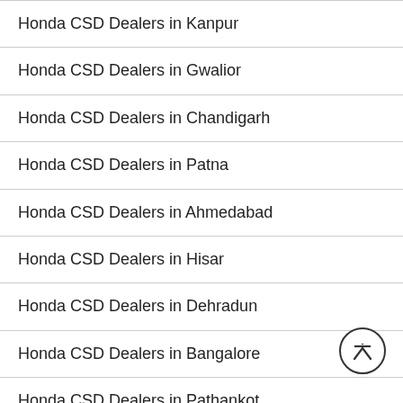Honda CSD Dealers in Kanpur
Honda CSD Dealers in Gwalior
Honda CSD Dealers in Chandigarh
Honda CSD Dealers in Patna
Honda CSD Dealers in Ahmedabad
Honda CSD Dealers in Hisar
Honda CSD Dealers in Dehradun
Honda CSD Dealers in Bangalore
Honda CSD Dealers in Pathankot
Honda CSD Dealers in Agra